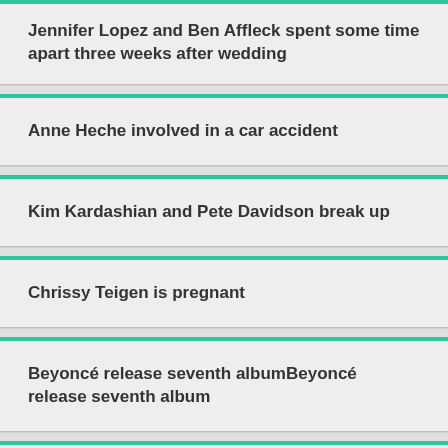Jennifer Lopez and Ben Affleck spent some time apart three weeks after wedding
Anne Heche involved in a car accident
Kim Kardashian and Pete Davidson break up
Chrissy Teigen is pregnant
Beyoncé release seventh albumBeyoncé release seventh album